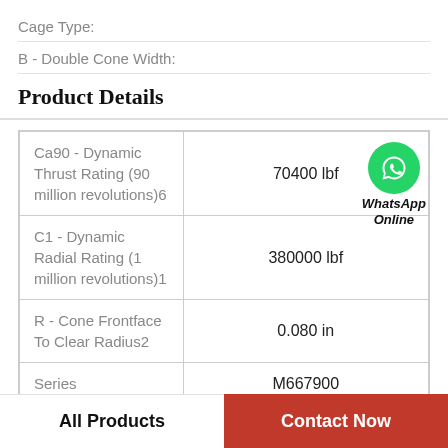Cage Type:
B - Double Cone Width:
Product Details
| Property | Value |
| --- | --- |
| Ca90 - Dynamic Thrust Rating (90 million revolutions)6 | 70400 lbf |
| C1 - Dynamic Radial Rating (1 million revolutions)1 | 380000 lbf |
| R - Cone Frontface To Clear Radius2 | 0.080 in |
| Series | M667900 |
[Figure (logo): WhatsApp Online green circle icon with phone handset, with text 'WhatsApp Online' in bold italic below]
All Products
Contact Now